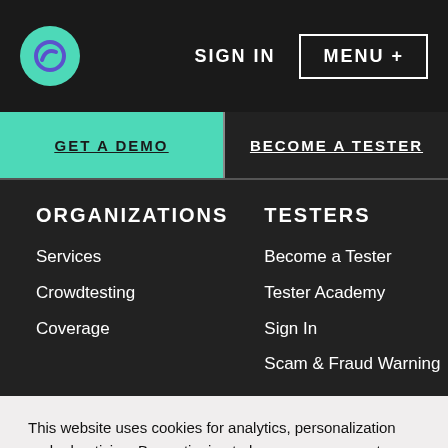SIGN IN  MENU +
GET A DEMO
BECOME A TESTER
ORGANIZATIONS
Services
Crowdtesting
Coverage
TESTERS
Become a Tester
Tester Academy
Sign In
Scam & Fraud Warning
This website uses cookies for analytics, personalization and advertising. By continuing to browse, you agree to our use of cookies. To learn more click Cookie Policy
Cookies Settings
ACCEPT ALL